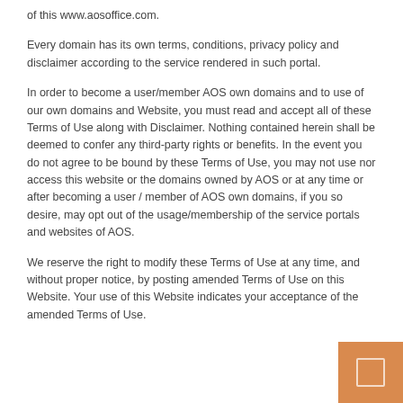of this www.aosoffice.com.
Every domain has its own terms, conditions, privacy policy and disclaimer according to the service rendered in such portal.
In order to become a user/member AOS own domains and to use of our own domains and Website, you must read and accept all of these Terms of Use along with Disclaimer. Nothing contained herein shall be deemed to confer any third-party rights or benefits. In the event you do not agree to be bound by these Terms of Use, you may not use nor access this website or the domains owned by AOS or at any time or after becoming a user / member of AOS own domains, if you so desire, may opt out of the usage/membership of the service portals and websites of AOS.
We reserve the right to modify these Terms of Use at any time, and without proper notice, by posting amended Terms of Use on this Website. Your use of this Website indicates your acceptance of the amended Terms of Use.